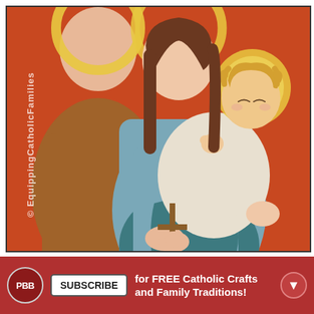[Figure (illustration): Catholic religious illustration showing Mary holding the Christ child (Baby Jesus) and Saint Joseph, with halos, on an orange-red background. Watermark text reads '© EquippingCatholicFamilies' rotated vertically on the left side.]
SUBSCRIBE for FREE Catholic Crafts and Family Traditions!